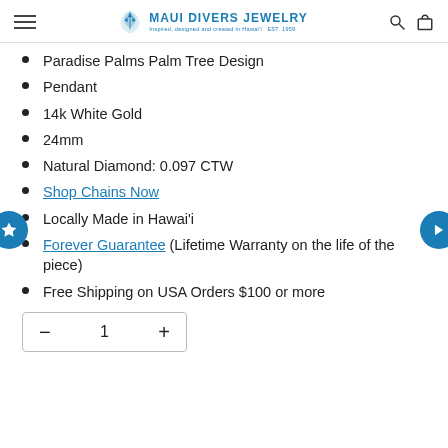Maui Divers Jewelry — Inspired, designed and created in Hawai'i EST. 1959
Paradise Palms Palm Tree Design
Pendant
14k White Gold
24mm
Natural Diamond: 0.097 CTW
Shop Chains Now
Locally Made in Hawai'i
Forever Guarantee (Lifetime Warranty on the life of the piece)
Free Shipping on USA Orders $100 or more